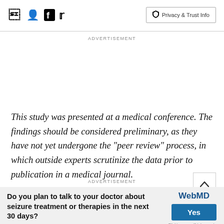Facebook Twitter | Privacy & Trust Info
ADVERTISEMENT
This study was presented at a medical conference. The findings should be considered preliminary, as they have not yet undergone the "peer review" process, in which outside experts scrutinize the data prior to publication in a medical journal.
ADVERTISEMENT
Do you plan to talk to your doctor about seizure treatment or therapies in the next 30 days?
[Figure (logo): WebMD logo with Yes button and text: Clicking yes will take you to a new page to learn about Epilepsy.]